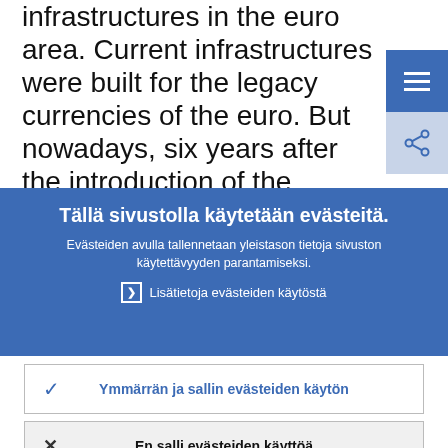infrastructures in the euro area. Current infrastructures were built for the legacy currencies of the euro. But nowadays, six years after the introduction of the common currency, payment systems can no longer satisfy only national needs. There is a clear
[Figure (screenshot): Blue navigation menu button with three horizontal lines (hamburger icon)]
[Figure (screenshot): Light blue share button with share icon]
Tällä sivustolla käytetään evästeitä.
Evästeiden avulla tallennetaan yleistason tietoja sivuston käytettävyyden parantamiseksi.
› Lisätietoja evästeiden käytöstä
✓ Ymmärrän ja sallin evästeiden käytön
✕ En salli evästeiden käyttöä